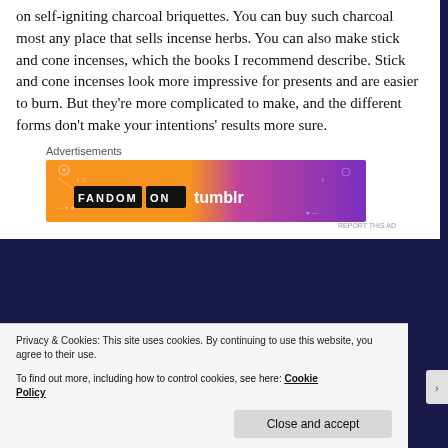on self-igniting charcoal briquettes. You can buy such charcoal most any place that sells incense herbs. You can also make stick and cone incenses, which the books I recommend describe. Stick and cone incenses look more impressive for presents and are easier to burn. But they're more complicated to make, and the different forms don't make your intentions' results more sure.
Advertisements
[Figure (other): Advertisement banner for 'Fandom on Tumblr' with orange-to-purple gradient background and decorative doodles]
REPORT THIS AD
Privacy & Cookies: This site uses cookies. By continuing to use this website, you agree to their use.
To find out more, including how to control cookies, see here: Cookie Policy
Close and accept